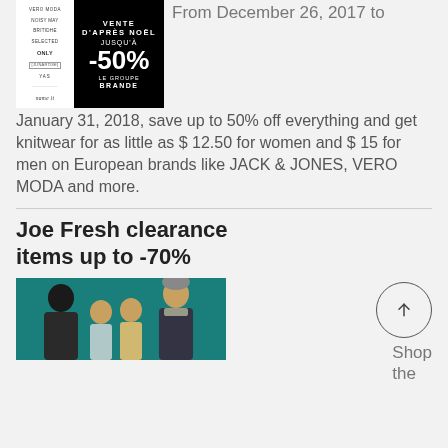[Figure (photo): Advertisement image showing Vente d'après Noël sale promotion with brand list and -50% discount on black background]
From December 26, 2017 to January 31, 2018, save up to 50% off everything and get knitwear for as little as $ 12.50 for women and $ 15 for men on European brands like JACK & JONES, VERO MODA and more.
Joe Fresh clearance items up to -70%
[Figure (photo): Joe Fresh clearance promotion image showing a family (man, two children, and woman) on a teal background]
Shop the